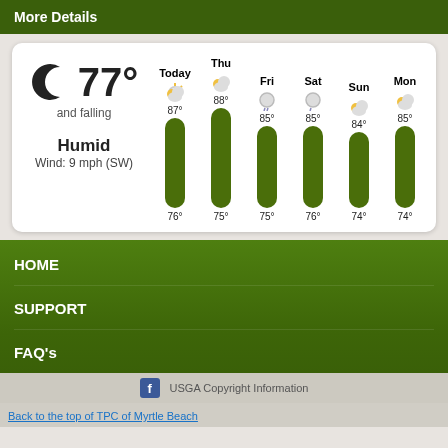More Details
[Figure (infographic): Weather widget showing current conditions: 77° and falling, Humid, Wind: 9 mph (SW). 6-day forecast bars for Today (87°/76°), Thu (88°/75°), Fri (85°/75°), Sat (85°/76°), Sun (84°/74°), Mon (85°/74°) with weather icons and green temperature bars.]
HOME
SUPPORT
FAQ's
USGA Copyright Information
Back to the top of TPC of Myrtle Beach